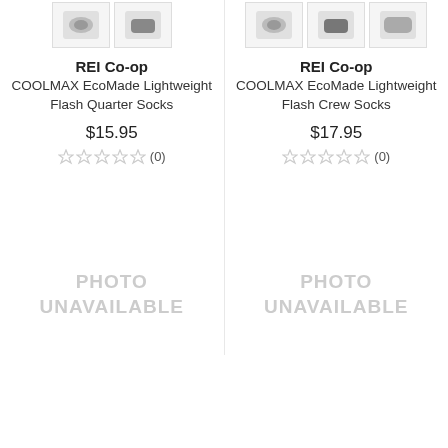[Figure (photo): Two small thumbnail images of socks for REI Co-op COOLMAX EcoMade Lightweight Flash Quarter Socks (left column)]
REI Co-op
COOLMAX EcoMade Lightweight Flash Quarter Socks
$15.95
☆☆☆☆☆ (0)
[Figure (photo): Three small thumbnail images of socks for REI Co-op COOLMAX EcoMade Lightweight Flash Crew Socks (right column)]
REI Co-op
COOLMAX EcoMade Lightweight Flash Crew Socks
$17.95
☆☆☆☆☆ (0)
[Figure (other): PHOTO UNAVAILABLE placeholder (left column)]
[Figure (other): PHOTO UNAVAILABLE placeholder (right column)]